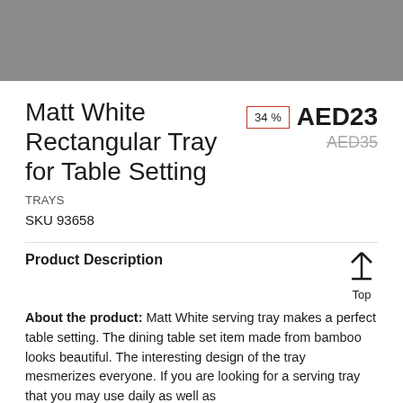[Figure (photo): Gray product photo placeholder bar at top of page]
Matt White Rectangular Tray for Table Setting
34 % AED23 AED35
TRAYS
SKU 93658
Product Description
About the product: Matt White serving tray makes a perfect table setting. The dining table set item made from bamboo looks beautiful. The interesting design of the tray mesmerizes everyone. If you are looking for a serving tray that you may use daily as well as